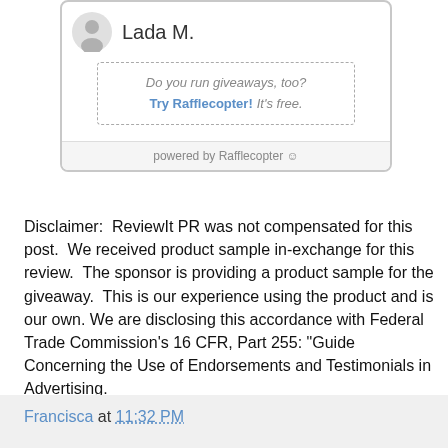[Figure (screenshot): Rafflecopter widget showing user 'Lada M.' with avatar, a dotted promo box saying 'Do you run giveaways, too? Try Rafflecopter! It's free.' and a footer 'powered by Rafflecopter']
Disclaimer:  ReviewIt PR was not compensated for this post.  We received product sample in-exchange for this review.  The sponsor is providing a product sample for the giveaway.  This is our experience using the product and is our own. We are disclosing this accordance with Federal Trade Commission's 16 CFR, Part 255: "Guide Concerning the Use of Endorsements and Testimonials in Advertising.
Francisca at 11:32 PM